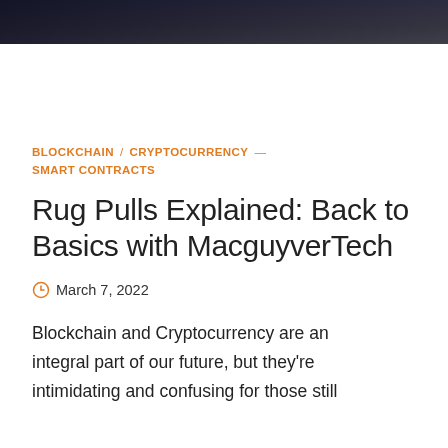[Figure (photo): Dark moody header image, appears to show a dark atmospheric scene]
BLOCKCHAIN / CRYPTOCURRENCY SMART CONTRACTS
Rug Pulls Explained: Back to Basics with MacguyverTech
March 7, 2022
Blockchain and Cryptocurrency are an integral part of our future, but they're intimidating and confusing for those still